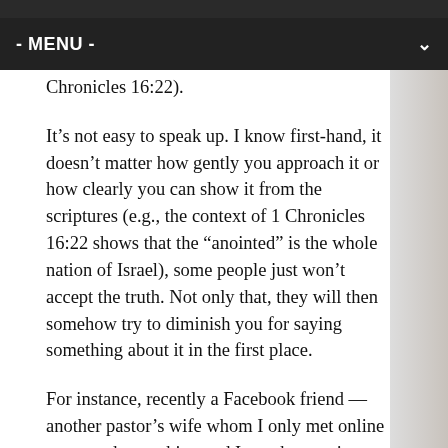- MENU -
Chronicles 16:22).
It’s not easy to speak up. I know first-hand, it doesn’t matter how gently you approach it or how clearly you can show it from the scriptures (e.g., the context of 1 Chronicles 16:22 shows that the “anointed” is the whole nation of Israel), some people just won’t accept the truth. Not only that, they will then somehow try to diminish you for saying something about it in the first place.
For instance, recently a Facebook friend — another pastor’s wife whom I only met online — posted something and I sent her a private message saying how I appreciated her heart behind the post, and that I wasn’t trying to start anything, but that it wasn’t quite biblical. I don’t recall exactly what it was about, but I do know it was important enough to point it out to her. We dialogued nicely about it for a minute, and I